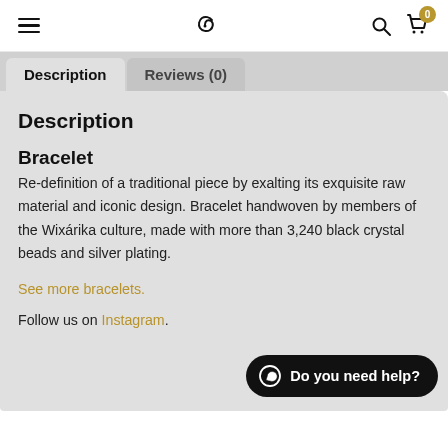Navigation bar with hamburger menu, spiral logo, search and cart icons
Description | Reviews (0)
Description
Bracelet
Re-definition of a traditional piece by exalting its exquisite raw material and iconic design. Bracelet handwoven by members of the Wixárika culture, made with more than 3,240 black crystal beads and silver plating.
See more bracelets.
Follow us on Instagram.
Do you need help?